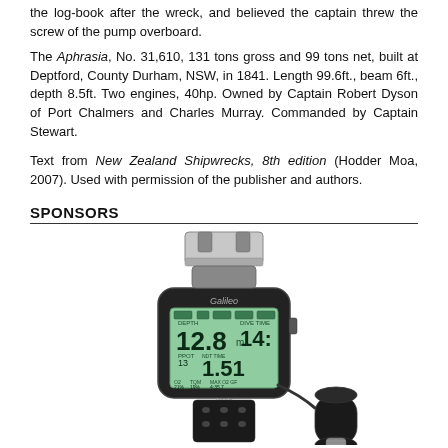the log-book after the wreck, and believed the captain threw the screw of the pump overboard.
The Aphrasia, No. 31,610, 131 tons gross and 99 tons net, built at Deptford, County Durham, NSW, in 1841. Length 99.6ft., beam 6ft., depth 8.5ft. Two engines, 40hp. Owned by Captain Robert Dyson of Port Chalmers and Charles Murray. Commanded by Captain Stewart.
Text from New Zealand Shipwrecks, 8th edition (Hodder Moa, 2007). Used with permission of the publisher and authors.
SPONSORS
[Figure (photo): A Galileo diving computer wristwatch with digital display showing depth 12.8m and dive time 14:, and other dive metrics. The device has a black rubber strap with holes and a separate cylindrical transmitter component shown to the lower right.]